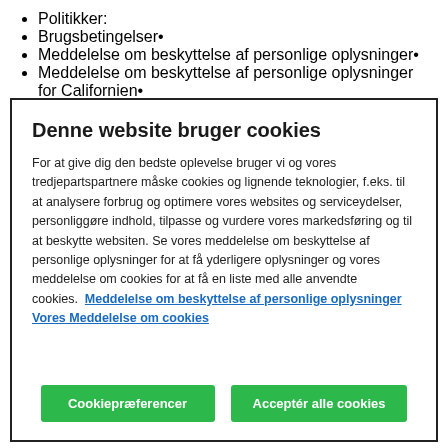Politikker:
Brugsbetingelser•
Meddelelse om beskyttelse af personlige oplysninger•
Meddelelse om beskyttelse af personlige oplysninger for Californien•
Denne website bruger cookies
For at give dig den bedste oplevelse bruger vi og vores tredjepartspartnere måske cookies og lignende teknologier, f.eks. til at analysere forbrug og optimere vores websites og serviceydelser, personliggøre indhold, tilpasse og vurdere vores markedsføring og til at beskytte websiten. Se vores meddelelse om beskyttelse af personlige oplysninger for at få yderligere oplysninger og vores meddelelse om cookies for at få en liste med alle anvendte cookies.  Meddelelse om beskyttelse af personlige oplysninger  Vores Meddelelse om cookies
Cookiepræferencer
Acceptér alle cookies